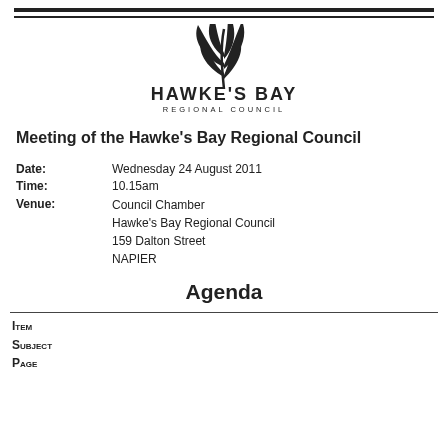[Figure (logo): Hawke's Bay Regional Council logo with stylized leaf/fern mark above bold text HAWKE'S BAY REGIONAL COUNCIL]
Meeting of the Hawke's Bay Regional Council
Date: Wednesday 24 August 2011
Time: 10.15am
Venue: Council Chamber
Hawke's Bay Regional Council
159 Dalton Street
NAPIER
Agenda
| ITEM | SUBJECT | PAGE |
| --- | --- | --- |